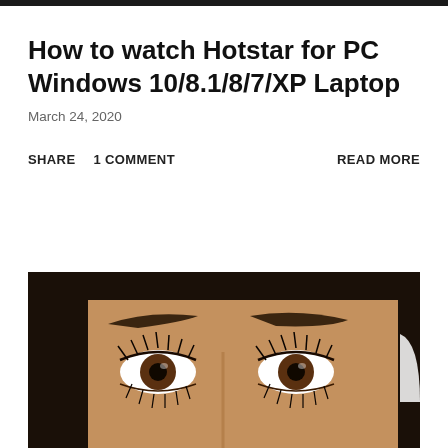How to watch Hotstar for PC Windows 10/8.1/8/7/XP Laptop
March 24, 2020
SHARE   1 COMMENT   READ MORE
[Figure (photo): Close-up photo of a woman's eyes with dark eyebrows and eyelashes]